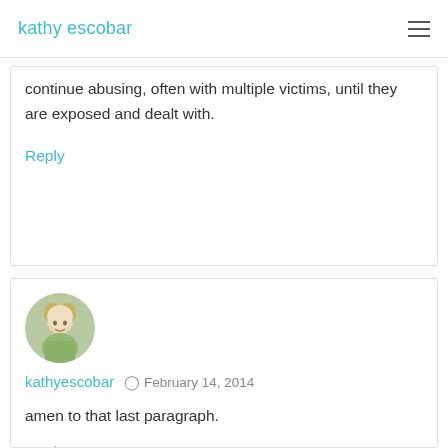kathy escobar
continue abusing, often with multiple victims, until they are exposed and dealt with.
Reply
[Figure (photo): Circular avatar photo of a blonde woman]
kathyescobar  February 14, 2014
amen to that last paragraph.
Reply